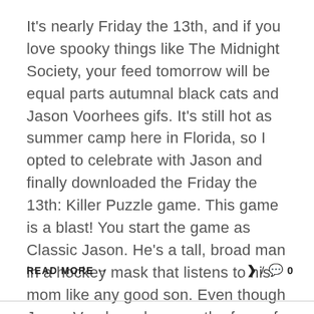It's nearly Friday the 13th, and if you love spooky things like The Midnight Society, your feed tomorrow will be equal parts autumnal black cats and Jason Voorhees gifs. It's still hot as summer camp here in Florida, so I opted to celebrate with Jason and finally downloaded the Friday the 13th: Killer Puzzle game. This game is a blast! You start the game as Classic Jason. He's a tall, broad man in a hockey mask that listens to his mom like any good son. Even though Jason Voorhees became the face of the Friday the 13th movies, Pamela Voorhees was th[...]
READ MORE → / 🗨 0